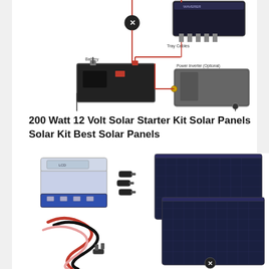[Figure (schematic): Solar wiring schematic showing battery, charge controller (WAVEREN brand), power inverter (optional), tray cables, and circuit breaker. Red lines indicate positive connections, black lines negative. Components labeled: Battery, Tray Cables, Power Inverter (Optional).]
200 Watt 12 Volt Solar Starter Kit Solar Panels Solar Kit Best Solar Panels
[Figure (photo): Product photo of a 200W 12V solar starter kit showing: a blue/white solar charge controller with LCD display, MC4 connectors, two large polycrystalline solar panels stacked, and red/black wiring harness with cables.]